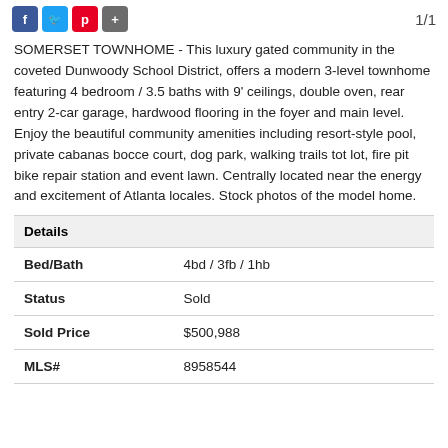1/1
SOMERSET TOWNHOME - This luxury gated community in the coveted Dunwoody School District, offers a modern 3-level townhome featuring 4 bedroom / 3.5 baths with 9' ceilings, double oven, rear entry 2-car garage, hardwood flooring in the foyer and main level. Enjoy the beautiful community amenities including resort-style pool, private cabanas bocce court, dog park, walking trails tot lot, fire pit bike repair station and event lawn. Centrally located near the energy and excitement of Atlanta locales. Stock photos of the model home.
| Details |  |
| --- | --- |
| Bed/Bath | 4bd / 3fb / 1hb |
| Status | Sold |
| Sold Price | $500,988 |
| MLS# | 8958544 |